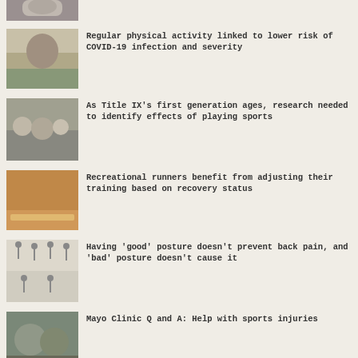[Figure (photo): Partial photo at top, cropped]
Regular physical activity linked to lower risk of COVID-19 infection and severity
As Title IX's first generation ages, research needed to identify effects of playing sports
Recreational runners benefit from adjusting their training based on recovery status
Having 'good' posture doesn't prevent back pain, and 'bad' posture doesn't cause it
Mayo Clinic Q and A: Help with sports injuries
Training cardio and weights during the same